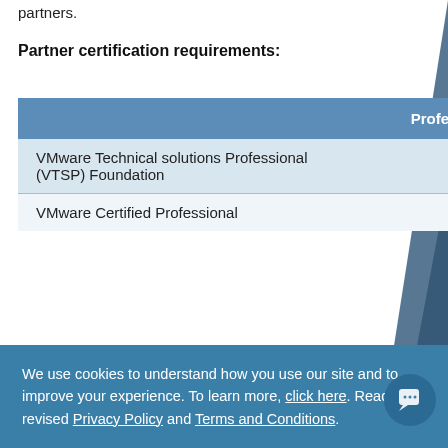partners.
Partner certification requirements:
|  | Professional | Enterprise | Premier |
| --- | --- | --- | --- |
| VMware Technical solutions Professional (VTSP) Foundation | 1 | 2 | 4 |
| VMware Certified Professional |  | 2 | 4 |
We use cookies to understand how you use our site and to improve your experience. To learn more, click here. Read our revised Privacy Policy and Terms and Conditions.